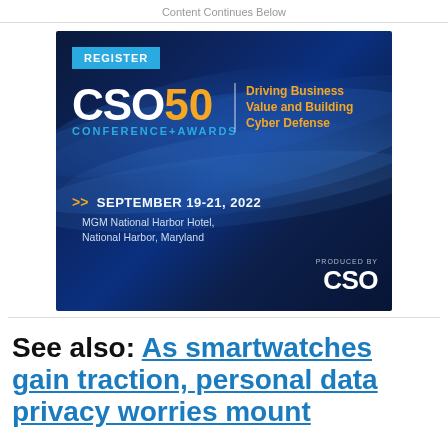Content Continues Below
[Figure (advertisement): CSO50 Conference+Awards advertisement. Dark blue background with swoosh light effects. REGISTER button in cyan. CSO50 logo with 'CSO' in white and '50' in orange. Tagline: 'Driving Business Value and Building Cyber Defense' in orange. Event date: SEPTEMBER 19-21, 2022. Venue: MGM National Harbor Hotel, National Harbor, Maryland. Produced by CSO logo at bottom right.]
See also: As smartwatches gain traction, personal data privacy worries mount